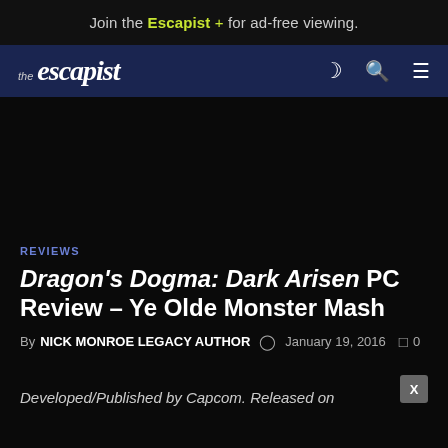Join the Escapist + for ad-free viewing.
[Figure (logo): The Escapist website navigation bar with logo and icons for dark mode, search, and menu]
REVIEWS
Dragon's Dogma: Dark Arisen PC Review – Ye Olde Monster Mash
By NICK MONROE LEGACY AUTHOR  January 19, 2016  0
Developed/Published by Capcom. Released on